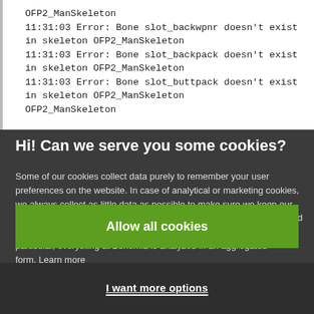OFP2_ManSkeleton
11:31:03 Error: Bone slot_backwpnr doesn't exist in skeleton OFP2_ManSkeleton
11:31:03 Error: Bone slot_backpack doesn't exist in skeleton OFP2_ManSkeleton
11:31:03 Error: Bone slot_buttpack doesn't exist in skeleton OFP2_ManSkeleton
Hi! Can we serve you some cookies?
Some of our cookies collect data purely to remember your user preferences on the website. In case of analytical or marketing cookies, we always collect as little data as possible to make sure we keep our marketing well targeted - which often results in you not being spammed by any of our ads at all. We're also never looking at data about you in particular, everything at Bohemia is analyzed in an aggregated form. Learn more
Allow all cookies
I want more options